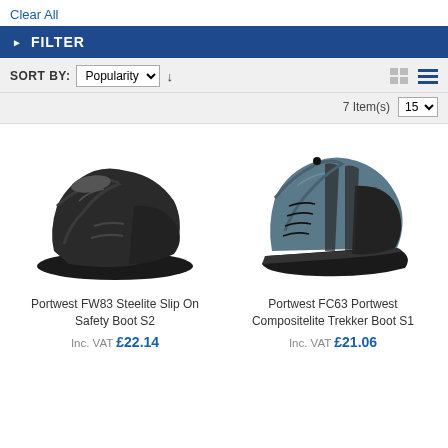Clear All
FILTER
SORT BY: Popularity ↓   7 Item(s)  15
[Figure (photo): Black leather slip-on safety boot (Portwest FW83 Steelite Slip On Safety Boot S2)]
[Figure (photo): Grey and black lace-up trekker safety boot (Portwest FC63 Portwest Compositelite Trekker Boot S1)]
Portwest FW83 Steelite Slip On Safety Boot S2
Inc. VAT £22.14
Portwest FC63 Portwest Compositelite Trekker Boot S1
Inc. VAT £21.06